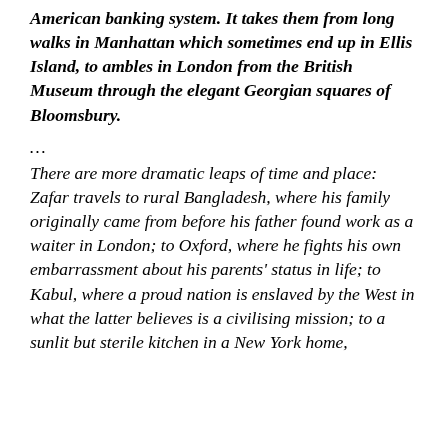American banking system. It takes them from long walks in Manhattan which sometimes end up in Ellis Island, to ambles in London from the British Museum through the elegant Georgian squares of Bloomsbury.
…
There are more dramatic leaps of time and place: Zafar travels to rural Bangladesh, where his family originally came from before his father found work as a waiter in London; to Oxford, where he fights his own embarrassment about his parents' status in life; to Kabul, where a proud nation is enslaved by the West in what the latter believes is a civilising mission; to a sunlit but sterile kitchen in a New York home,